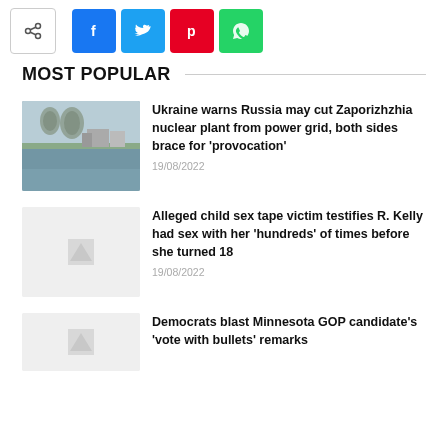[Figure (screenshot): Social share bar with share icon, Facebook, Twitter, Pinterest, and WhatsApp buttons]
MOST POPULAR
[Figure (photo): Zaporizhzhia nuclear plant viewed across water with cooling towers visible]
Ukraine warns Russia may cut Zaporizhzhia nuclear plant from power grid, both sides brace for 'provocation'
19/08/2022
[Figure (photo): Placeholder image thumbnail]
Alleged child sex tape victim testifies R. Kelly had sex with her 'hundreds' of times before she turned 18
19/08/2022
[Figure (photo): Placeholder image thumbnail for Minnesota GOP article]
Democrats blast Minnesota GOP candidate's 'vote with bullets' remarks